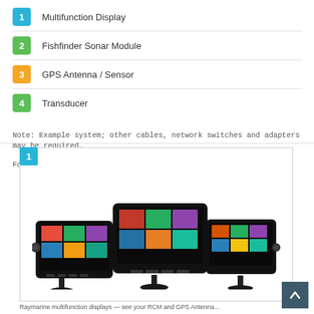1 Multifunction Display
2 Fishfinder Sonar Module
3 GPS Antenna / Sensor
4 Transducer
Note: Example system; other cables, network switches and adapters may be required. For more information, ask your local Raymarine Dealer
[Figure (photo): Three Raymarine multifunction display units shown together — left, center, and right units with colorful touchscreen interfaces]
Raymarine multifunction displays — see your RCM and GPS Antenna...